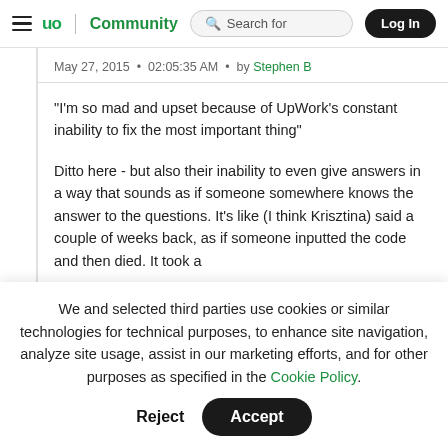≡ up | Community   🔍 Search for   Log In
May 27, 2015 • 02:05:35 AM • by Stephen B
"I'm so mad and upset because of UpWork's constant inability to fix the most important thing"
Ditto here - but also their inability to even give answers in a way that sounds as if someone somewhere knows the answer to the questions. It's like (I think Krisztina) said a couple of weeks back, as if someone inputted the code and then died. It took a
We and selected third parties use cookies or similar technologies for technical purposes, to enhance site navigation, analyze site usage, assist in our marketing efforts, and for other purposes as specified in the Cookie Policy.
Accept
Reject